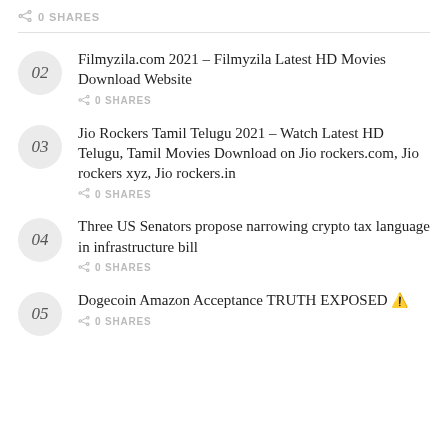0 SHARES
02 Filmyzila.com 2021 – Filmyzila Latest HD Movies Download Website
0 SHARES
03 Jio Rockers Tamil Telugu 2021 – Watch Latest HD Telugu, Tamil Movies Download on Jio rockers.com, Jio rockers xyz, Jio rockers.in
0 SHARES
04 Three US Senators propose narrowing crypto tax language in infrastructure bill
0 SHARES
05 Dogecoin Amazon Acceptance TRUTH EXPOSED ⚠️
0 SHARES